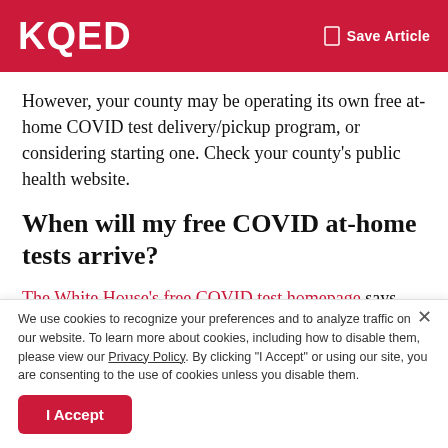KQED — Save Article
However, your county may be operating its own free at-home COVID test delivery/pickup program, or considering starting one. Check your county's public health website.
When will my free COVID at-home tests arrive?
The White House's free COVID test homepage says that your order "will usually ship in 7-12 days." The White House originally said it would prioritize shipments to
We use cookies to recognize your preferences and to analyze traffic on our website. To learn more about cookies, including how to disable them, please view our Privacy Policy. By clicking "I Accept" or using our site, you are consenting to the use of cookies unless you disable them.